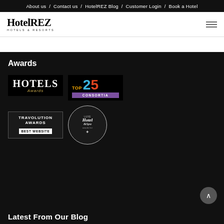About us / Contact us / HotelREZ Blog / Customer Login / Book a Hotel
[Figure (logo): HotelREZ Hotels & Resorts logo]
Awards
[Figure (illustration): Hotels Awards badge]
[Figure (illustration): Top 25 Consortia badge]
[Figure (illustration): Travolution Awards Best Website badge]
[Figure (illustration): Luxe Hotel and Spa awards circular badge]
Latest From Our Blog